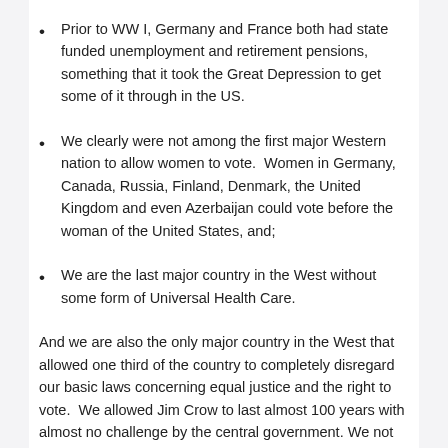Prior to WW I, Germany and France both had state funded unemployment and retirement pensions, something that it took the Great Depression to get some of it through in the US.
We clearly were not among the first major Western nation to allow women to vote.  Women in Germany, Canada, Russia, Finland, Denmark, the United Kingdom and even Azerbaijan could vote before the woman of the United States, and;
We are the last major country in the West without some form of Universal Health Care.
And we are also the only major country in the West that allowed one third of the country to completely disregard our basic laws concerning equal justice and the right to vote.  We allowed Jim Crow to last almost 100 years with almost no challenge by the central government. We not only allowed Jim Crow, but allowed tens of thousand of outright murder of citizens to go unpunished (lynching).  South Africa did not start